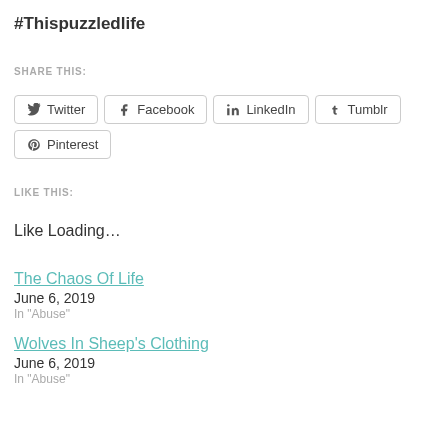#Thispuzzledlife
SHARE THIS:
Twitter  Facebook  LinkedIn  Tumblr  Pinterest
LIKE THIS:
Like Loading…
The Chaos Of Life
June 6, 2019
In "Abuse"
Wolves In Sheep’s Clothing
June 6, 2019
In "Abuse"